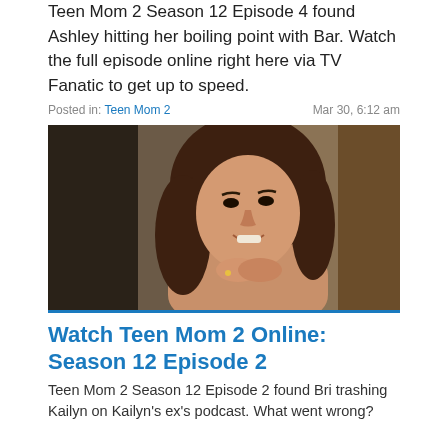Teen Mom 2 Season 12 Episode 4 found Ashley hitting her boiling point with Bar. Watch the full episode online right here via TV Fanatic to get up to speed.
Posted in: Teen Mom 2   Mar 30, 6:12 am
[Figure (photo): A young woman with long brown hair sitting and resting her chin on her clasped hands, smiling. A blurred person is visible to the left.]
Watch Teen Mom 2 Online: Season 12 Episode 2
Teen Mom 2 Season 12 Episode 2 found Bri trashing Kailyn on Kailyn's ex's podcast. What went wrong?